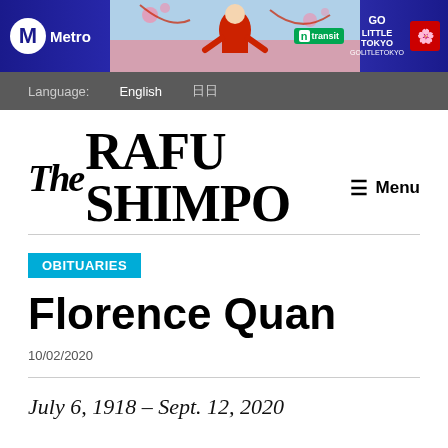[Figure (infographic): Metro / LA transit banner advertisement featuring a child in traditional red costume performing, with Go Little Tokyo logo and transit branding on a dark blue background.]
Language:   English   日日
The Rafu Shimpo
OBITUARIES
Florence Quan
10/02/2020
July 6, 1918 – Sept. 12, 2020